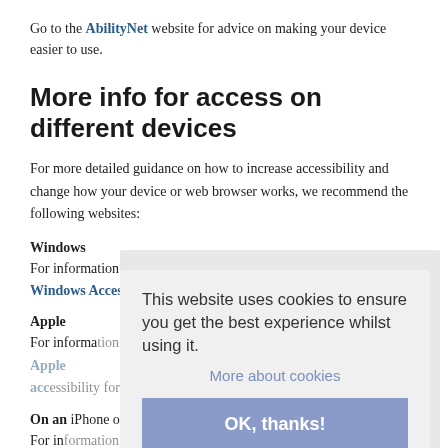Go to the AbilityNet website for advice on making your device easier to use.
More info for access on different devices
For more detailed guidance on how to increase accessibility and change how your device or web browser works, we recommend the following websites:
Windows
For information about accessibility options using a Windows PC see Windows Accessibility features
Apple
For information about accessibility options using an Apple PC see Apple accessibility for OSX
On an iPhone or iPad
For information about accessibility options using an iPhone see Apple accessibility for ios
On an Android device
For information about accessibility options using an Android device see the Android accessibility help centre
This website uses cookies to ensure you get the best experience whilst using it.
More about cookies
OK, thanks!